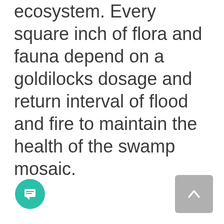ecosystem. Every square inch of flora and fauna depend on a goldilocks dosage and return interval of flood and fire to maintain the health of the swamp mosaic.
[Figure (other): Teal circular chat/comment button icon at bottom left]
[Figure (other): Gray rounded rectangle scroll-to-top button with upward chevron at bottom right]